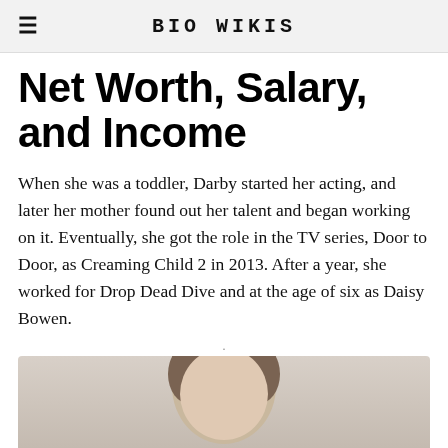BIO WIKIS
Net Worth, Salary, and Income
When she was a toddler, Darby started her acting, and later her mother found out her talent and began working on it. Eventually, she got the role in the TV series, Door to Door, as Creaming Child 2 in 2013. After a year, she worked for Drop Dead Dive and at the age of six as Daisy Bowen.
[Figure (photo): Photo of Darby, partial head visible at bottom of page]